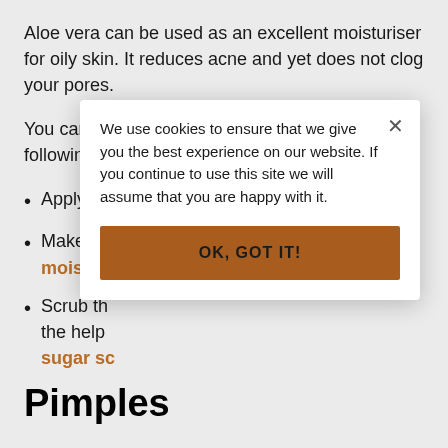Aloe vera can be used as an excellent moisturiser for oily skin. It reduces acne and yet does not clog your pores.
You can apply aloe vera for oily skin in the following 3 ways:
Apply ale… [partially obscured by popup]
Make th… moisturi… [partially obscured by popup, orange link text]
Scrub th… the help… sugar sc… [partially obscured by popup, orange link text]
Pimples
We use cookies to ensure that we give you the best experience on our website. If you continue to use this site we will assume that you are happy with it.
OK, GOT IT!